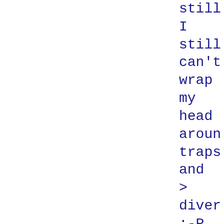still
I
still
can't
wrap
my
head
around
traps
and
>
diver
:-P

Traps
are
easy,
end
of
the
page.
Diver
are
easy,
it's
a
bucket
to
put
stuff
in